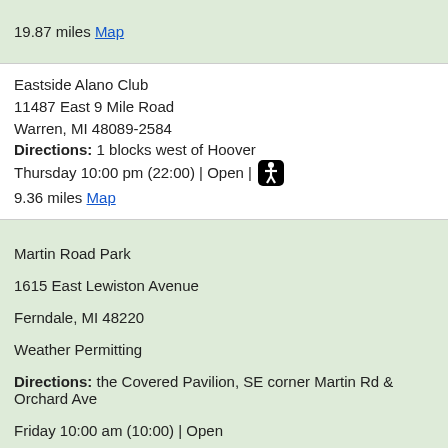19.87 miles Map
Eastside Alano Club
11487 East 9 Mile Road
Warren, MI 48089-2584
Directions: 1 blocks west of Hoover
Thursday 10:00 pm (22:00) | Open | [accessible]
9.36 miles Map
Martin Road Park
1615 East Lewiston Avenue
Ferndale, MI 48220
Weather Permitting
Directions: the Covered Pavilion, SE corner Martin Rd & Orchard Ave
Friday 10:00 am (10:00) | Open
10.02 miles Map
Greater Love Christian Center
18400 Schaefer Highway
Detroit, MI 48235-1754
Directions: North of Lodge Freeway
Friday 10:00 am (10:00) | Open
9.46 miles Map
Positive Image Transitional Home